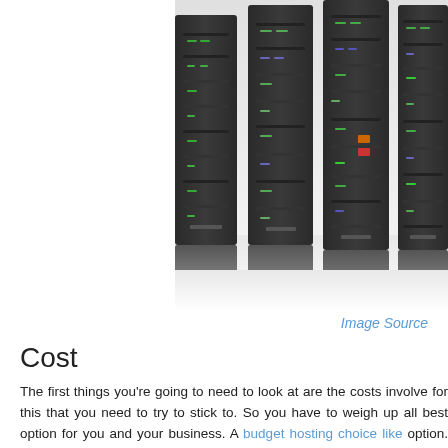[Figure (photo): Row of server rack towers with blinking lights, reflected on a white surface, partially cropped]
Image Source
Cost
The first things you're going to need to look at are the costs involve for this that you need to try to stick to. So you have to weigh up all best option for you and your business. A budget hosting choice like option. Of course, you may well decide you'd like to spend a little possible service. However, this isn't always the case, just as the c value. Make a note of all the costs, and try to find out if there are